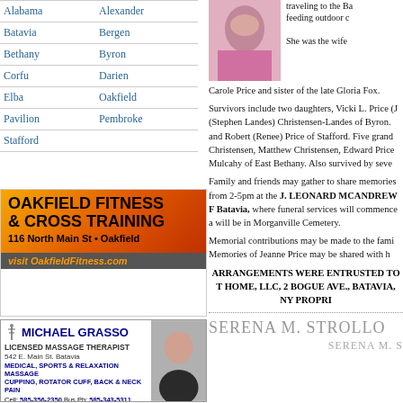Alabama
Alexander
Batavia
Bergen
Bethany
Byron
Corfu
Darien
Elba
Oakfield
Pavilion
Pembroke
Stafford
[Figure (photo): Portrait photo of deceased woman in pink]
traveling to the Ba feeding outdoor c She was the wife Carole Price and sister of the late Gloria Fox. Survivors include two daughters, Vicki L. Price (J (Stephen Landes) Christensen-Landes of Byron. and Robert (Renee) Price of Stafford. Five grand Christensen, Matthew Christensen, Edward Price Mulcahy of East Bethany. Also survived by seve
Family and friends may gather to share memories from 2-5pm at the J. LEONARD MCANDREW F Batavia, where funeral services will commence a will be in Morganville Cemetery.
Memorial contributions may be made to the fami Memories of Jeanne Price may be shared with h
ARRANGEMENTS WERE ENTRUSTED TO T HOME, LLC, 2 BOGUE AVE., BATAVIA, NY PROPRI
[Figure (illustration): Oakfield Fitness & Cross Training advertisement. 116 North Main St • Oakfield. visit OakfieldFitness.com]
[Figure (photo): Michael Grasso Licensed Massage Therapist advertisement. 542 E. Main St. Batavia. Medical, Sports & Relaxation Massage. Cupping, Rotator Cuff, Back & Neck Pain. Cell: 585-356-2350 Bus Ph: 585-343-5311]
[Figure (illustration): Partial advertisement at bottom left (partially visible)]
SERENA M. STROLLO
SERENA M. S